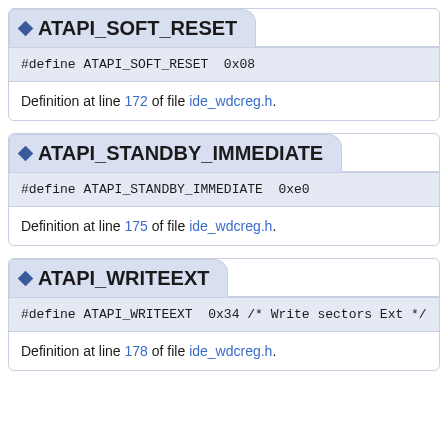ATAPI_SOFT_RESET
#define ATAPI_SOFT_RESET  0x08
Definition at line 172 of file ide_wdcreg.h.
ATAPI_STANDBY_IMMEDIATE
#define ATAPI_STANDBY_IMMEDIATE  0xe0
Definition at line 175 of file ide_wdcreg.h.
ATAPI_WRITEEXT
#define ATAPI_WRITEEXT  0x34 /* Write sectors Ext */
Definition at line 178 of file ide_wdcreg.h.